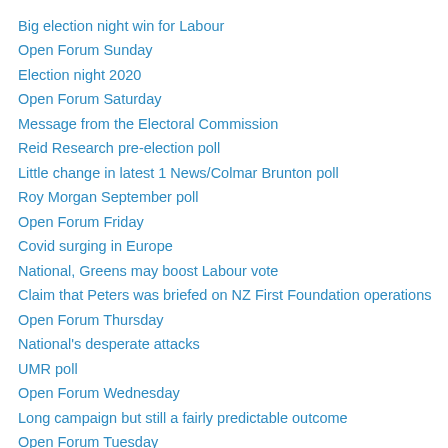Big election night win for Labour
Open Forum Sunday
Election night 2020
Open Forum Saturday
Message from the Electoral Commission
Reid Research pre-election poll
Little change in latest 1 News/Colmar Brunton poll
Roy Morgan September poll
Open Forum Friday
Covid surging in Europe
National, Greens may boost Labour vote
Claim that Peters was briefed on NZ First Foundation operations
Open Forum Thursday
National's desperate attacks
UMR poll
Open Forum Wednesday
Long campaign but still a fairly predictable outcome
Open Forum Tuesday
Open Forum Monday